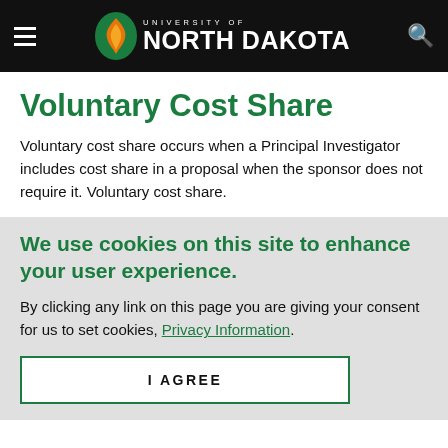University of North Dakota
Voluntary Cost Share
Voluntary cost share occurs when a Principal Investigator includes cost share in a proposal when the sponsor does not require it. Voluntary cost share.
We use cookies on this site to enhance your user experience.
By clicking any link on this page you are giving your consent for us to set cookies, Privacy Information.
I AGREE